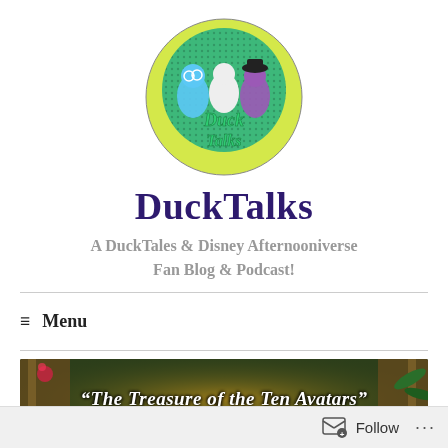[Figure (logo): DuckTalks circular logo with cartoon duck characters and green/yellow circle background with 'Duck Talks' text]
DuckTalks
A DuckTales & Disney Afternooniverse Fan Blog & Podcast!
≡ Menu
[Figure (illustration): Banner image reading 'The Treasure of the Ten Avatars' with DuckTales themed artwork background]
Follow ...